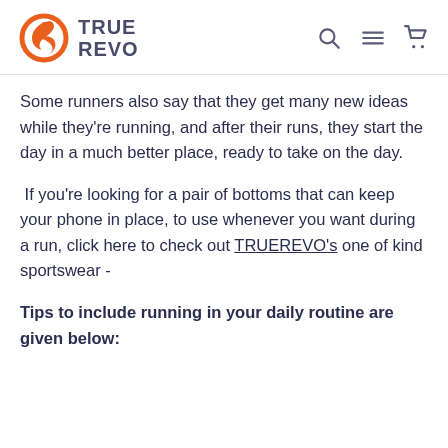TRUE REVO
Some runners also say that they get many new ideas while they're running, and after their runs, they start the day in a much better place, ready to take on the day.
If you're looking for a pair of bottoms that can keep your phone in place, to use whenever you want during a run, click here to check out TRUEREVO's one of kind sportswear -
Tips to include running in your daily routine are given below: